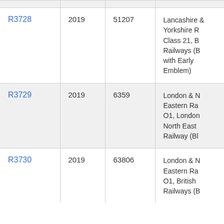| Reference | Year | Number | Description |
| --- | --- | --- | --- |
| R3728 | 2019 | 51207 | Lancashire & Yorkshire R Class 21, British Railways (B with Early Emblem) |
| R3729 | 2019 | 6359 | London & N Eastern Ra O1, London North East Railway (Bl |
| R3730 | 2019 | 63806 | London & N Eastern Ra O1, British Railways (B ... |